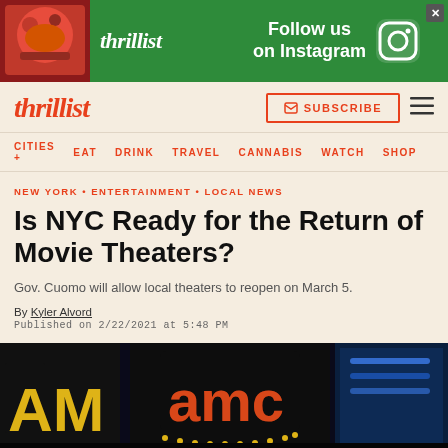[Figure (screenshot): Thrillist advertisement banner with green background, Thrillist logo, food image, and 'Follow us on Instagram' text with Instagram icon]
thrillist  SUBSCRIBE
CITIES + EAT DRINK TRAVEL CANNABIS WATCH SHOP
NEW YORK • ENTERTAINMENT • LOCAL NEWS
Is NYC Ready for the Return of Movie Theaters?
Gov. Cuomo will allow local theaters to reopen on March 5.
By Kyler Alvord
Published on 2/22/2021 at 5:48 PM
[Figure (photo): AMC movie theater exterior with neon orange and yellow lights at night in New York City]